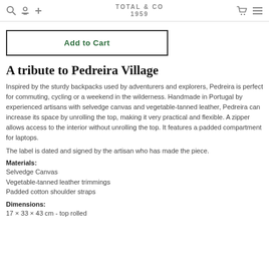Total & Co 1959
Add to Cart
A tribute to Pedreira Village
Inspired by the sturdy backpacks used by adventurers and explorers, Pedreira is perfect for commuting, cycling or a weekend in the wilderness. Handmade in Portugal by experienced artisans with selvedge canvas and vegetable-tanned leather, Pedreira can increase its space by unrolling the top, making it very practical and flexible. A zipper allows access to the interior without unrolling the top. It features a padded compartment for laptops.
The label is dated and signed by the artisan who has made the piece.
Materials:
Selvedge Canvas
Vegetable-tanned leather trimmings
Padded cotton shoulder straps
Dimensions:
17 × 33 × 43 cm - top rolled